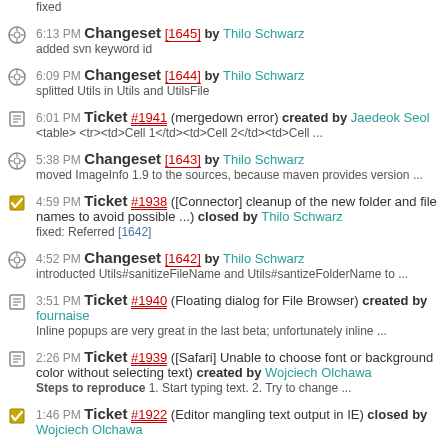fixed
6:13 PM Changeset [1645] by Thilo Schwarz
added svn keyword id
6:09 PM Changeset [1644] by Thilo Schwarz
splitted Utils in Utils and UtilsFile
6:01 PM Ticket #1941 (mergedown error) created by Jaedeok Seol
<table> <tr><td>Cell 1</td><td>Cell 2</td><td>Cell ...
5:38 PM Changeset [1643] by Thilo Schwarz
moved ImageInfo 1.9 to the sources, because maven provides version ...
4:59 PM Ticket #1938 ([Connector] cleanup of the new folder and file names to avoid possible ...) closed by Thilo Schwarz
fixed: Referred [1642]
4:52 PM Changeset [1642] by Thilo Schwarz
introducted Utils#sanitizeFileName and Utils#santizeFolderName to ...
3:51 PM Ticket #1940 (Floating dialog for File Browser) created by fournaise
Inline popups are very great in the last beta; unfortunately inline ...
2:26 PM Ticket #1939 ([Safari] Unable to choose font or background color without selecting text) created by Wojciech Olchawa
Steps to reproduce 1. Start typing text. 2. Try to change ...
1:46 PM Ticket #1922 (Editor mangling text output in IE) closed by Wojciech Olchawa